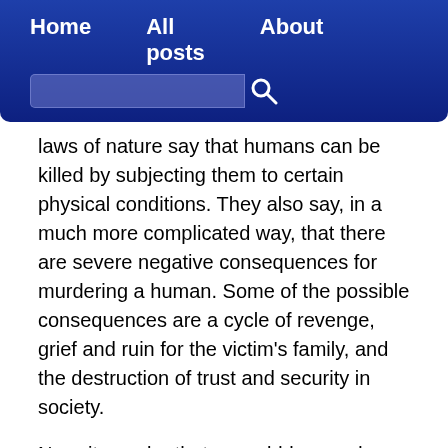Home   All posts   About
laws of nature say that humans can be killed by subjecting them to certain physical conditions. They also say, in a much more complicated way, that there are severe negative consequences for murdering a human. Some of the possible consequences are a cycle of revenge, grief and ruin for the victim's family, and the destruction of trust and security in society.
Now, it may be that a would-be murderer says "I will kill my victim and take his money. I see no potential downside". He does not understand the natural consequences of his actions. This is where the human law is helpful, for it now steps in and says "Even if you can't understand the natural law that